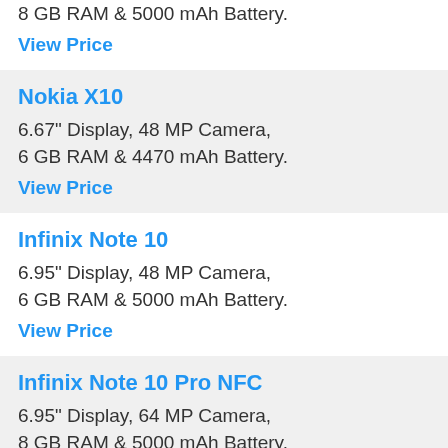8 GB RAM & 5000 mAh Battery.
View Price
Nokia X10
6.67" Display, 48 MP Camera,
6 GB RAM & 4470 mAh Battery.
View Price
Infinix Note 10
6.95" Display, 48 MP Camera,
6 GB RAM & 5000 mAh Battery.
View Price
Infinix Note 10 Pro NFC
6.95" Display, 64 MP Camera,
8 GB RAM & 5000 mAh Battery.
View Price